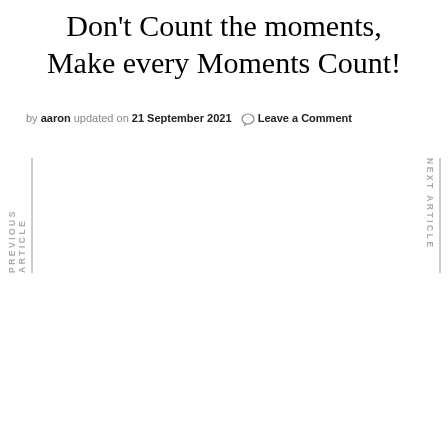Don't Count the moments, Make every Moments Count!
by aaron updated on 21 September 2021  Leave a Comment
PREVIOUS ARTICLE
NEXT ARTICLE